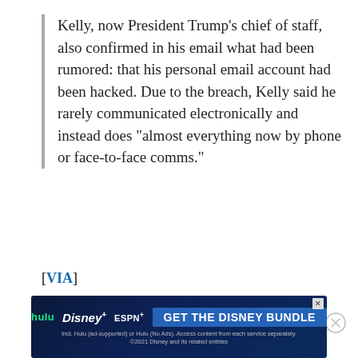Kelly, now President Trump's chief of staff, also confirmed in his email what had been rumored: that his personal email account had been hacked. Due to the breach, Kelly said he rarely communicated electronically and instead does "almost everything now by phone or face-to-face comms."
[VIA]
TWEET / COMMENTS
DONALD TRUMP / HACKERS / HACKING / HACKS / JOHN KELLY / TRUMP
[Figure (other): Hulu Disney+ ESPN+ advertisement banner with GET THE DISNEY BUNDLE call to action]